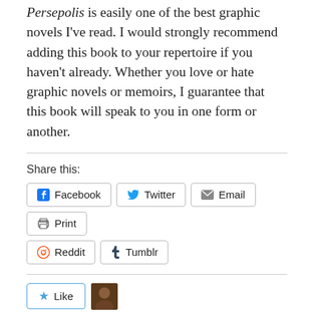Persepolis is easily one of the best graphic novels I've read. I would strongly recommend adding this book to your repertoire if you haven't already. Whether you love or hate graphic novels or memoirs, I guarantee that this book will speak to you in one form or another.
Share this:
Facebook  Twitter  Email  Print  Reddit  Tumblr
One blogger likes this.